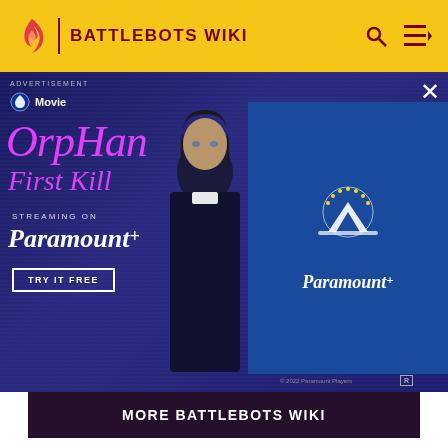BATTLEBOTS WIKI
[Figure (photo): Advertisement for Orphan: First Kill, a Paramount+ movie. Shows the movie title in pink text, streaming on Paramount+ text, a TRY IT FREE button, and a character image with blue background. Paramount+ logo on blue panel on the right.]
MORE BATTLEBOTS WIKI
1 BattleBots: Champions
2 HyperShock